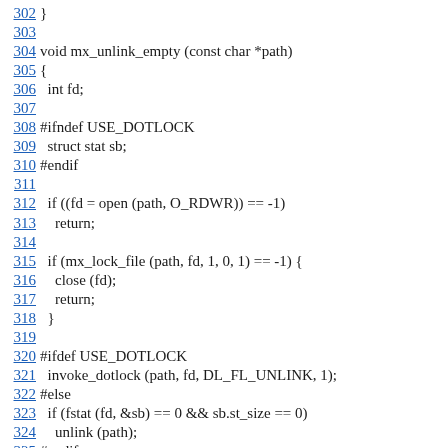302 }
303
304 void mx_unlink_empty (const char *path)
305 {
306   int fd;
307
308 #ifndef USE_DOTLOCK
309   struct stat sb;
310 #endif
311
312   if ((fd = open (path, O_RDWR)) == -1)
313     return;
314
315   if (mx_lock_file (path, fd, 1, 0, 1) == -1) {
316     close (fd);
317     return;
318   }
319
320 #ifdef USE_DOTLOCK
321   invoke_dotlock (path, fd, DL_FL_UNLINK, 1);
322 #else
323   if (fstat (fd, &sb) == 0 && sb.st_size == 0)
324     unlink (path);
325 #endif
326